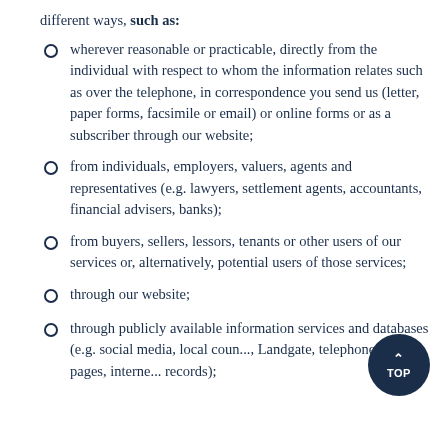different ways, such as:
wherever reasonable or practicable, directly from the individual with respect to whom the information relates such as over the telephone, in correspondence you send us (letter, paper forms, facsimile or email) or online forms or as a subscriber through our website;
from individuals, employers, valuers, agents and representatives (e.g. lawyers, settlement agents, accountants, financial advisers, banks);
from buyers, sellers, lessors, tenants or other users of our services or, alternatively, potential users of those services;
through our website;
through publicly available information services and databases (e.g. social media, local coun..., Landgate, telephone white pages, interne... records);